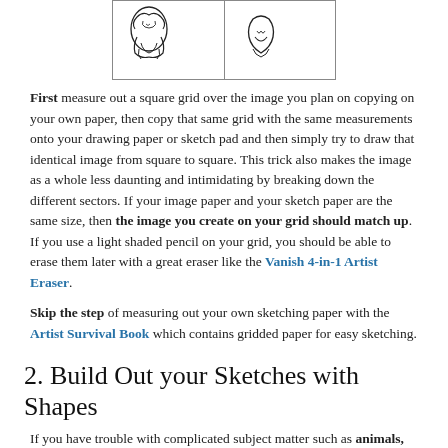[Figure (illustration): A table/grid showing sketches of a face/nose area, split into two columns and one visible row, demonstrating the grid method for copying drawings.]
First measure out a square grid over the image you plan on copying on your own paper, then copy that same grid with the same measurements onto your drawing paper or sketch pad and then simply try to draw that identical image from square to square. This trick also makes the image as a whole less daunting and intimidating by breaking down the different sectors. If your image paper and your sketch paper are the same size, then the image you create on your grid should match up. If you use a light shaded pencil on your grid, you should be able to erase them later with a great eraser like the Vanish 4-in-1 Artist Eraser.
Skip the step of measuring out your own sketching paper with the Artist Survival Book which contains gridded paper for easy sketching.
2. Build Out your Sketches with Shapes
If you have trouble with complicated subject matter such as animals,